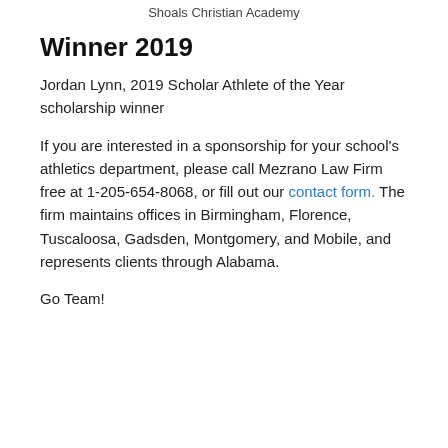Shoals Christian Academy
Winner 2019
Jordan Lynn, 2019 Scholar Athlete of the Year scholarship winner
If you are interested in a sponsorship for your school's athletics department, please call Mezrano Law Firm free at 1-205-654-8068, or fill out our contact form. The firm maintains offices in Birmingham, Florence, Tuscaloosa, Gadsden, Montgomery, and Mobile, and represents clients through Alabama.
Go Team!